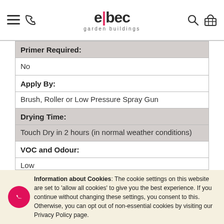elbec garden buildings
| Primer Required: | No |
| Apply By: | Brush, Roller or Low Pressure Spray Gun |
| Drying Time: | Touch Dry in 2 hours (in normal weather conditions) |
| VOC and Odour: | Low |
| Maintenance: | Re-apply every 3-5 years (depending on levels of wear & tear and exposure) |
Information about Cookies: The cookie settings on this website are set to 'allow all cookies' to give you the best experience. If you continue without changing these settings, you consent to this. Otherwise, you can opt out of non-essential cookies by visiting our Privacy Policy page.